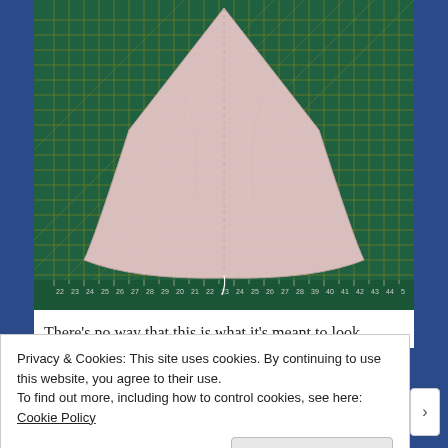[Figure (photo): A pink fan-shaped fabric piece cut out and laid on a green self-healing cutting mat with yellow grid lines and measurement markings along the bottom edge.]
There's no way that this is what it's meant to look
Privacy & Cookies: This site uses cookies. By continuing to use this website, you agree to their use.
To find out more, including how to control cookies, see here: Cookie Policy
Close and accept